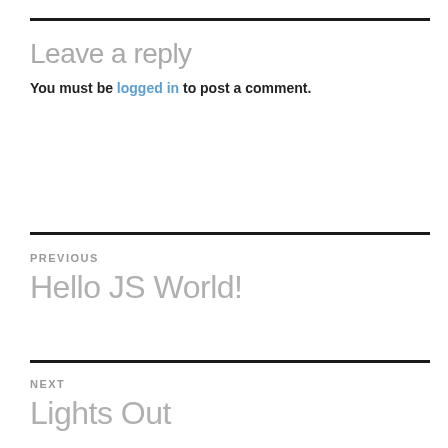Leave a reply
You must be logged in to post a comment.
PREVIOUS
Hello JS World!
NEXT
Lights Out